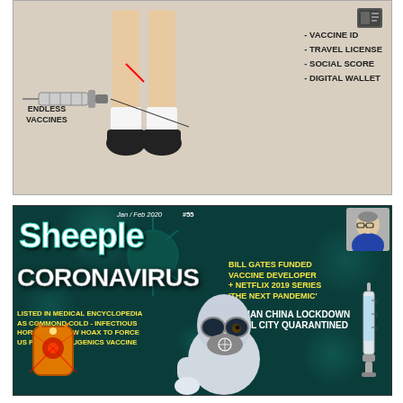[Figure (illustration): Illustration showing a person's legs with a syringe labeled 'ENDLESS VACCINES' on the left, and on the right a list: VACCINE ID, TRAVEL LICENSE, SOCIAL SCORE, DIGITAL WALLET with a device icon]
[Figure (illustration): Cover of 'Sheeple' magazine, Jan/Feb 2020 #55. Teal/dark background with coronavirus imagery. Headlines: 'BILL GATES FUNDED VACCINE DEVELOPER + NETFLIX 2019 SERIES THE NEXT PANDEMIC', 'WUHAN CHINA LOCKDOWN 11 MIL CITY QUARANTINED', 'CORONAVIRUS', 'LISTED IN MEDICAL ENCYCLOPEDIA AS COMMOND COLD - INFECTIOUS HORROR OR NEW HOAX TO FORCE US PATENTED EUGENICS VACCINE'. Person in hazmat suit visible.]